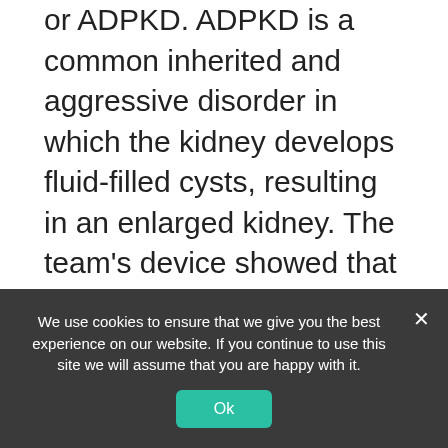or ADPKD. ADPKD is a common inherited and aggressive disorder in which the kidney develops fluid-filled cysts, resulting in an enlarged kidney. The team's device showed that ADPKD cells pump fluid in the opposite direction of healthy epithelial cells. This altered pumping behavior changes the kidney tube's pressure profile, resulting in change to their shape and morphology.
They also tested the drug Tolvaptan on ADPKD
We use cookies to ensure that we give you the best experience on our website. If you continue to use this site we will assume that you are happy with it.